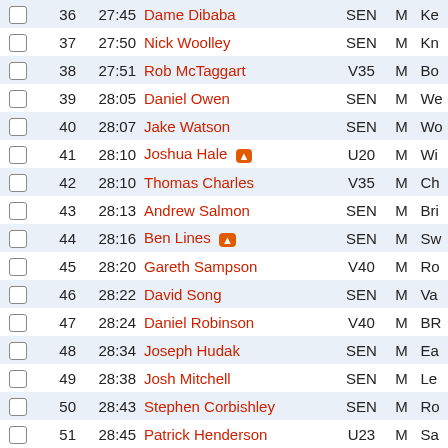|  | # | Time | Name | Cat | G | Club |
| --- | --- | --- | --- | --- | --- | --- |
|  | 36 | 27:45 | Dame Dibaba | SEN | M | Ke... |
|  | 37 | 27:50 | Nick Woolley | SEN | M | Kn... |
|  | 38 | 27:51 | Rob McTaggart | V35 | M | Bo... |
|  | 39 | 28:05 | Daniel Owen | SEN | M | We... |
|  | 40 | 28:07 | Jake Watson | SEN | M | Wo... |
|  | 41 | 28:10 | Joshua Hale 🔥 | U20 | M | Wi... |
|  | 42 | 28:10 | Thomas Charles | V35 | M | Ch... |
|  | 43 | 28:13 | Andrew Salmon | SEN | M | Br... |
|  | 44 | 28:16 | Ben Lines 🔥 | SEN | M | Sw... |
|  | 45 | 28:20 | Gareth Sampson | V40 | M | Ro... |
|  | 46 | 28:22 | David Song | SEN | M | Va... |
|  | 47 | 28:24 | Daniel Robinson | V40 | M | BR... |
|  | 48 | 28:34 | Joseph Hudak | SEN | M | Ea... |
|  | 49 | 28:38 | Josh Mitchell | SEN | M | Le... |
|  | 50 | 28:43 | Stephen Corbishley | SEN | M | Ro... |
|  | 51 | 28:45 | Patrick Henderson | U23 | M | Sa... |
|  | 52 | 28:47 | Jim Hickinbottom 🔥 | V35 | M | Sh... |
|  | 53 | 28:51 | Narayan Satheesh Kumar | SEN | M | Ha... |
|  | 54 | 28:54 | Howell Harrod | SEN | M | Co... |